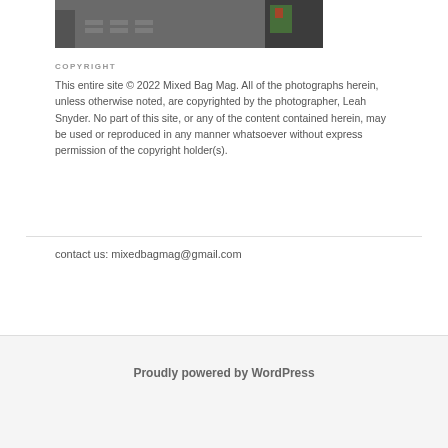[Figure (photo): Partial photo of people crossing a crosswalk in the rain, visible at top of page]
COPYRIGHT
This entire site © 2022 Mixed Bag Mag. All of the photographs herein, unless otherwise noted, are copyrighted by the photographer, Leah Snyder. No part of this site, or any of the content contained herein, may be used or reproduced in any manner whatsoever without express permission of the copyright holder(s).
contact us: mixedbagmag@gmail.com
Proudly powered by WordPress